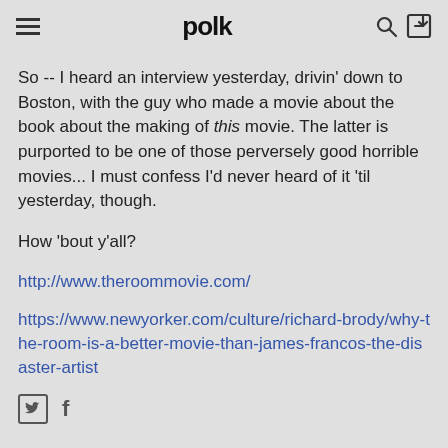polk
So -- I heard an interview yesterday, drivin' down to Boston, with the guy who made a movie about the book about the making of this movie. The latter is purported to be one of those perversely good horrible movies... I must confess I'd never heard of it 'til yesterday, though.
How 'bout y'all?
http://www.theroommovie.com/
https://www.newyorker.com/culture/richard-brody/why-the-room-is-a-better-movie-than-james-francos-the-disaster-artist